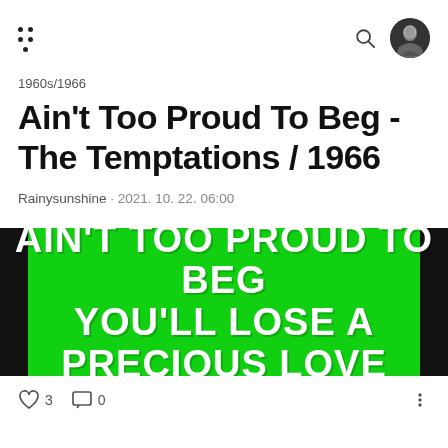1960s/1966
Ain't Too Proud To Beg - The Temptations / 1966
Rainysunshine · 2021. 10. 22. 06:00
[Figure (illustration): Green banner image with bold white text on bright green background with black side bars reading 'AIN'T TOO PROUD TO BEG' on first line and 'YOU'LL LOSE A PRECIOUS LOVE' on second line]
♡ 3   ··· 0